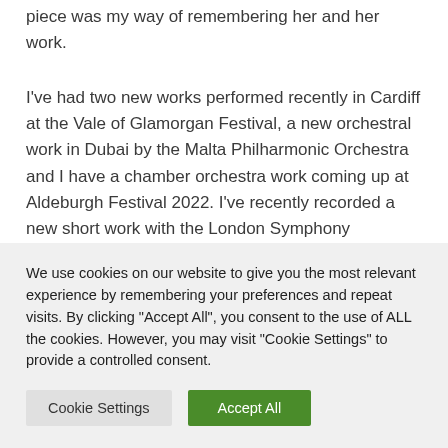piece was my way of remembering her and her work.
I've had two new works performed recently in Cardiff at the Vale of Glamorgan Festival, a new orchestral work in Dubai by the Malta Philharmonic Orchestra and I have a chamber orchestra work coming up at Aldeburgh Festival 2022. I've recently recorded a new short work with the London Symphony Orchestra and an
We use cookies on our website to give you the most relevant experience by remembering your preferences and repeat visits. By clicking "Accept All", you consent to the use of ALL the cookies. However, you may visit "Cookie Settings" to provide a controlled consent.